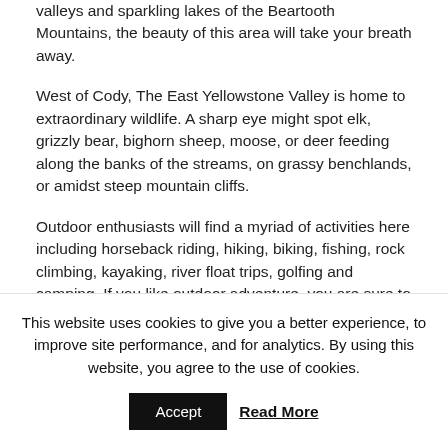valleys and sparkling lakes of the Beartooth Mountains, the beauty of this area will take your breath away.
West of Cody, The East Yellowstone Valley is home to extraordinary wildlife. A sharp eye might spot elk, grizzly bear, bighorn sheep, moose, or deer feeding along the banks of the streams, on grassy benchlands, or amidst steep mountain cliffs.
Outdoor enthusiasts will find a myriad of activities here including horseback riding, hiking, biking, fishing, rock climbing, kayaking, river float trips, golfing and camping. If you like outdoor adventure, you are sure to find it in Cody Yellowstone!
This website uses cookies to give you a better experience, to improve site performance, and for analytics. By using this website, you agree to the use of cookies.